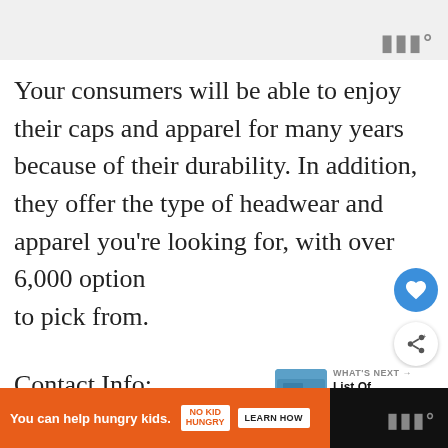Your consumers will be able to enjoy their caps and apparel for many years because of their durability. In addition, they offer the type of headwear and apparel you're looking for, with over 6,000 options to pick from.
Contact Info:
You can help hungry kids. NO KID HUNGRY LEARN HOW